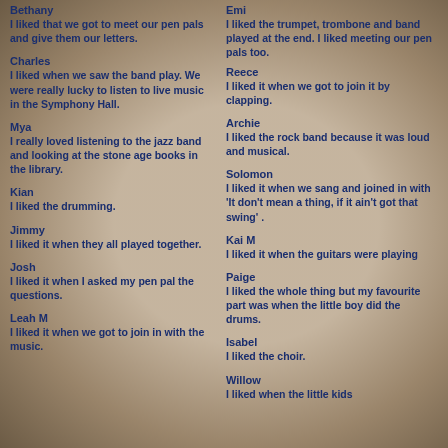Bethany
I liked that we got to meet our pen pals and give them our letters.
Charles
I liked when we saw the band play. We were really lucky to listen to live music in the Symphony Hall.
Mya
I really loved listening to the jazz band and looking at the stone age books in the library.
Kian
I liked the drumming.
Jimmy
I liked it when they all played together.
Josh
I liked it when I asked my pen pal the questions.
Leah M
I liked it when we got to join in with the music.
Emi
I liked the trumpet, trombone and band played at the end. I liked meeting our pen pals too.
Reece
I liked it when we got to join it by clapping.
Archie
I liked the rock band because it was loud and musical.
Solomon
I liked it when we sang and joined in with 'It don't mean a thing, if it ain't got that swing' .
Kai M
I liked it when the guitars were playing
Paige
I liked the whole thing but my favourite part was when the little boy did the drums.
Isabel
I liked the choir.
Willow
I liked when the little kids